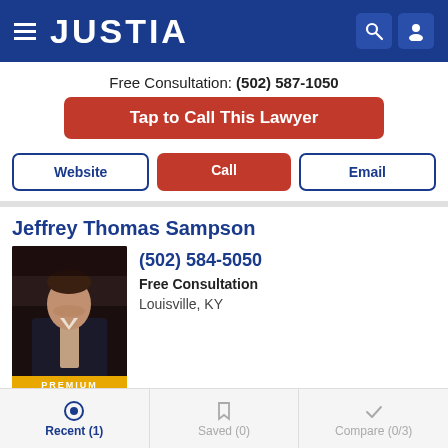JUSTIA
Free Consultation: (502) 587-1050
Tap to Call This Lawyer
Website | Call | Email
Jeffrey Thomas Sampson
(502) 584-5050
Free Consultation
Louisville, KY
[Figure (photo): Professional headshot of Jeffrey Thomas Sampson with PREMIUM badge]
Website | Call | Email
Recent (1) | Saved (0) | Compare (0/3)